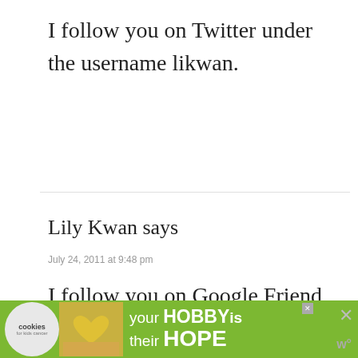I follow you on Twitter under the username likwan.
Lily Kwan says
July 24, 2011 at 9:48 pm
I follow you on Google Friend Connect under the username
[Figure (other): Green advertisement banner for cookies for kids cancer charity with text 'your HOBBY is their HOPE' and cookie logo]